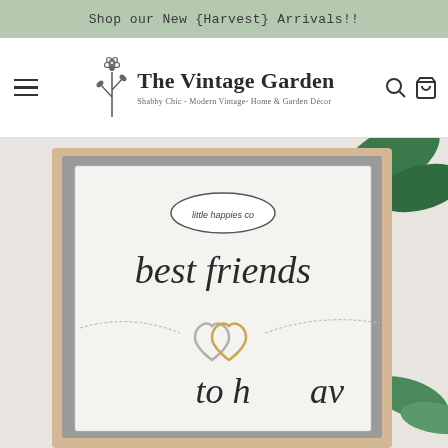Shop our New {Harvest} Arrivals!!
[Figure (logo): The Vintage Garden logo with flower/branch icon and subtitle 'Shabby Chic - Modern Vintage- Home & Garden Decor']
[Figure (photo): Product photo showing a 'best friends' necklace by 'little happies co' in a gift box. Two interlocked heart charms (one silver, one gold) on a chain, on a card reading 'best friends' with partial text below.]